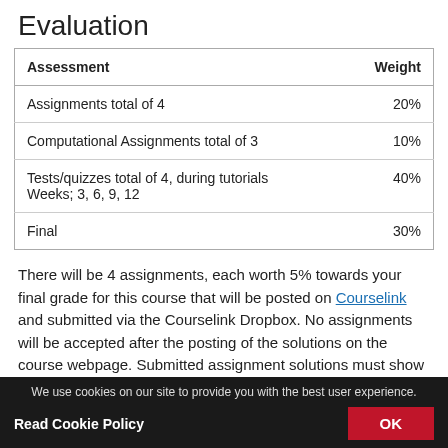Evaluation
| Assessment | Weight |
| --- | --- |
| Assignments total of 4 | 20% |
| Computational Assignments total of 3 | 10% |
| Tests/quizzes total of 4, during tutorials Weeks; 3, 6, 9, 12 | 40% |
| Final | 30% |
There will be 4 assignments, each worth 5% towards your final grade for this course that will be posted on Courselink and submitted via the Courselink Dropbox. No assignments will be accepted after the posting of the solutions on the course webpage. Submitted assignment solutions must show
We use cookies on our site to provide you with the best user experience. Read Cookie Policy  OK